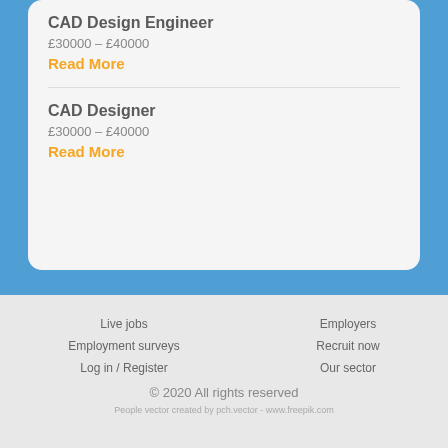CAD Design Engineer
£30000 – £40000
Read More
CAD Designer
£30000 – £40000
Read More
Live jobs
Employers
Employment surveys
Recruit now
Log in / Register
Our sector
© 2020 All rights reserved
People vector created by pch.vector - www.freepik.com